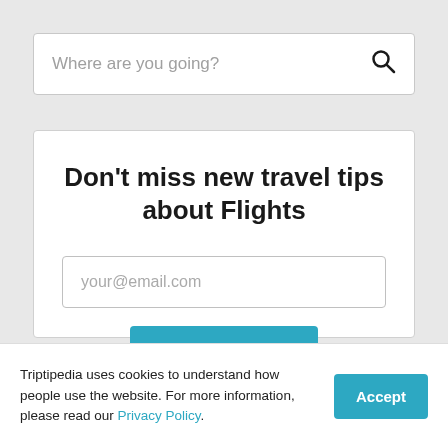[Figure (screenshot): Search input box with placeholder text 'Where are you going?' and a search icon on the right]
Don't miss new travel tips about Flights
[Figure (screenshot): Email input field with placeholder 'your@email.com']
[Figure (screenshot): Subscribe button with double chevron arrows]
Triptipedia uses cookies to understand how people use the website. For more information, please read our Privacy Policy.